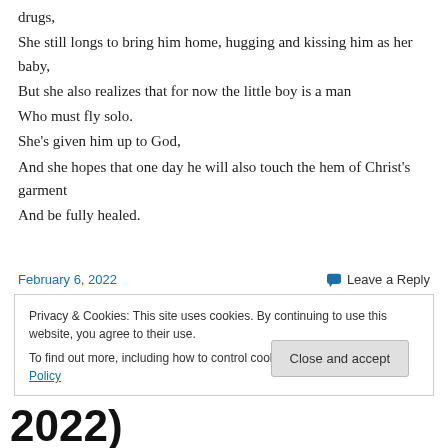drugs,
She still longs to bring him home, hugging and kissing him as her baby,
But she also realizes that for now the little boy is a man
Who must fly solo.
She's given him up to God,
And she hopes that one day he will also touch the hem of Christ's garment
And be fully healed.
February 6, 2022    Leave a Reply
Privacy & Cookies: This site uses cookies. By continuing to use this website, you agree to their use.
To find out more, including how to control cookies, see here: Cookie Policy
Close and accept
2022)